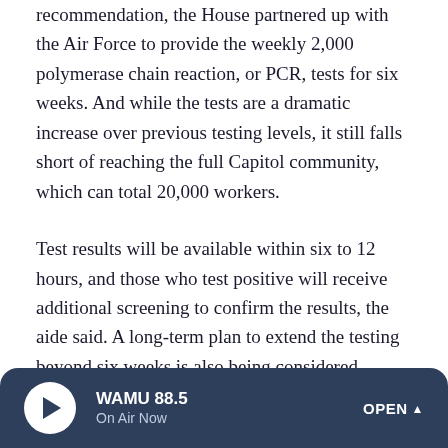recommendation, the House partnered up with the Air Force to provide the weekly 2,000 polymerase chain reaction, or PCR, tests for six weeks. And while the tests are a dramatic increase over previous testing levels, it still falls short of reaching the full Capitol community, which can total 20,000 workers.
Test results will be available within six to 12 hours, and those who test positive will receive additional screening to confirm the results, the aide said. A long-term plan to extend the testing beyond six weeks is also being considered.
Meanwhile, a House mask mandate instituted earlier this year remains in effect, the aide said.
WAMU 88.5 On Air Now OPEN